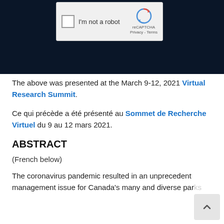[Figure (screenshot): Dark navy background banner with a reCAPTCHA widget showing a checkbox labeled 'I'm not a robot' and the reCAPTCHA logo with 'Privacy - Terms' text]
The above was presented at the March 9-12, 2021 Virtual Research Summit.
Ce qui précède a été présenté au Sommet de Recherche Virtuel du 9 au 12 mars 2021.
ABSTRACT
(French below)
The coronavirus pandemic resulted in an unprecedent management issue for Canada's many and diverse parks